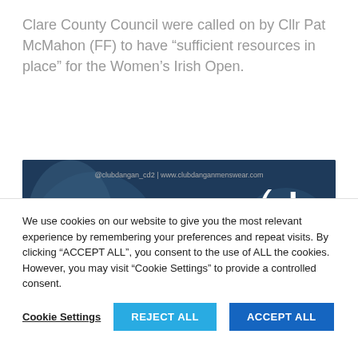Clare County Council were called on by Cllr Pat McMahon (FF) to have “sufficient resources in place” for the Women’s Irish Open.
[Figure (illustration): Advertisement banner for Club Dangan cd2 menswear, dark navy background with silhouette figures, logo cd2, text 'BIG & TALL RANGE' and '2XL, 3XL, 4XL, 5XL']
We use cookies on our website to give you the most relevant experience by remembering your preferences and repeat visits. By clicking “ACCEPT ALL”, you consent to the use of ALL the cookies. However, you may visit “Cookie Settings” to provide a controlled consent.